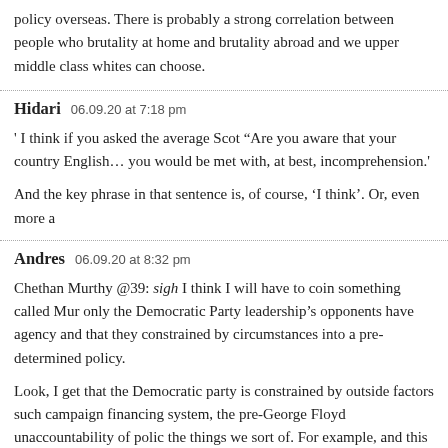policy overseas. There is probably a strong correlation between people who support brutality at home and brutality abroad and we upper middle class whites can choose.
Hidari   06.09.20 at 7:18 pm
' I think if you asked the average Scot “Are you aware that your country is English… you would be met with, at best, incomprehension.'
And the key phrase in that sentence is, of course, ‘I think’. Or, even more a
Andres   06.09.20 at 8:32 pm
Chethan Murthy @39: sigh I think I will have to coin something called Mu only the Democratic Party leadership’s opponents have agency and that the constrained by circumstances into a pre-determined policy.
Look, I get that the Democratic party is constrained by outside factors such campaign financing system, the pre-George Floyd unaccountability of poli the things we sort of. For example, and this information will